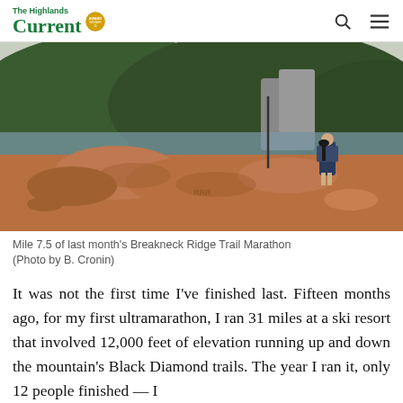The Highlands Current
[Figure (photo): A person in a kilt playing bagpipes standing on rocky terrain at mile 7.5 of the Breakneck Ridge Trail Marathon, with a forested mountain and river in the background.]
Mile 7.5 of last month's Breakneck Ridge Trail Marathon (Photo by B. Cronin)
It was not the first time I've finished last. Fifteen months ago, for my first ultramarathon, I ran 31 miles at a ski resort that involved 12,000 feet of elevation running up and down the mountain's Black Diamond trails. The year I ran it, only 12 people finished — I